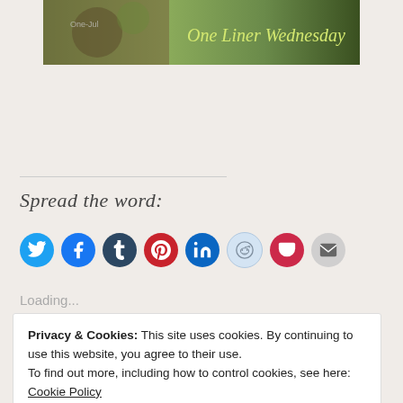[Figure (photo): Banner image showing 'One Liner Wednesday' text over a blurred nature/animal background]
Spread the word:
[Figure (infographic): Row of social sharing icons: Twitter, Facebook, Tumblr, Pinterest, LinkedIn, Reddit, Pocket, Email]
Loading...
Privacy & Cookies: This site uses cookies. By continuing to use this website, you agree to their use.
To find out more, including how to control cookies, see here: Cookie Policy
Close and accept